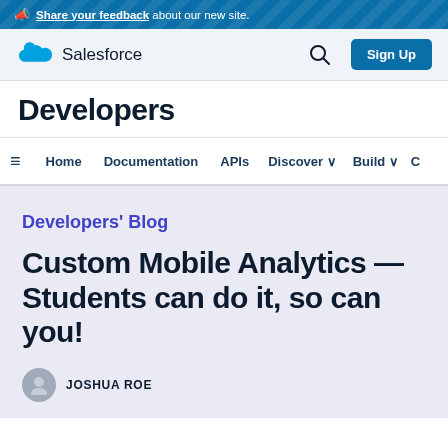📣 Share your feedback about our new site.
[Figure (logo): Salesforce cloud logo with text 'Salesforce']
Home  Documentation  APIs  Discover  Build  C
Developers
Developers' Blog
Custom Mobile Analytics — Students can do it, so can you!
JOSHUA ROE